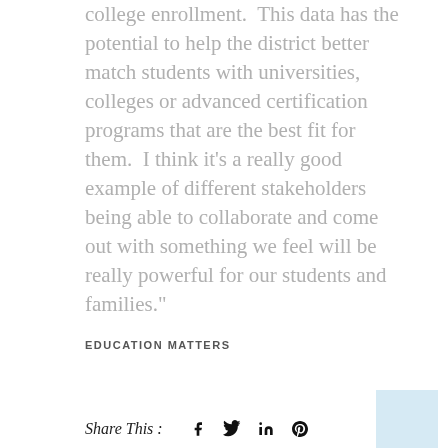college enrollment.  This data has the potential to help the district better match students with universities, colleges or advanced certification programs that are the best fit for them.  I think it's a really good example of different stakeholders being able to collaborate and come out with something we feel will be really powerful for our students and families."
EDUCATION MATTERS
Share This :